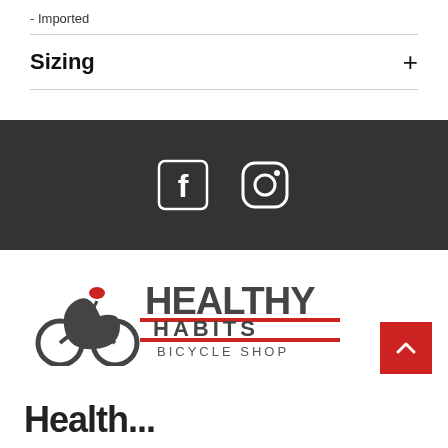- Imported
Sizing
[Figure (logo): Social media icons: Facebook and Instagram on dark gray background]
[Figure (logo): Healthy Habits Bicycle Shop logo with cyclist graphic]
Healthy...